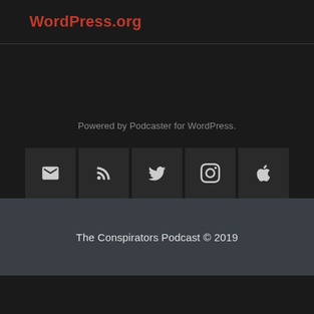WordPress.org
Powered by Podcaster for WordPress.
[Figure (infographic): Row of 5 social media icon boxes: email/envelope, RSS feed, Twitter bird, Instagram camera, Apple logo. Dark background boxes with light icons.]
The Conspirators Podcast © 2019